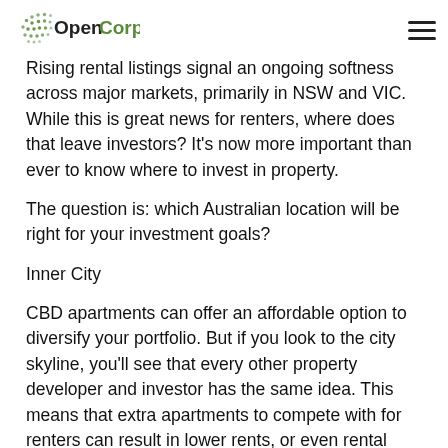OpenCorp logo and hamburger menu
Rising rental listings signal an ongoing softness across major markets, primarily in NSW and VIC. While this is great news for renters, where does that leave investors? It's now more important than ever to know where to invest in property.
The question is: which Australian location will be right for your investment goals?
Inner City
CBD apartments can offer an affordable option to diversify your portfolio. But if you look to the city skyline, you'll see that every other property developer and investor has the same idea. This means that extra apartments to compete with for renters can result in lower rents, or even rental vacancies.
The risk is even greater with off-the-plan developments, which could be worth less in the long-term if the